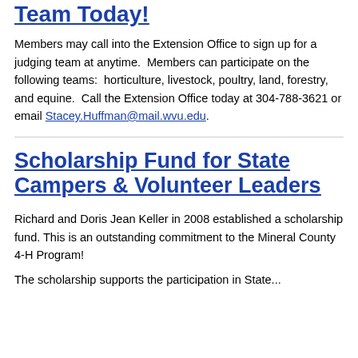Team Today!
Members may call into the Extension Office to sign up for a judging team at anytime. Members can participate on the following teams: horticulture, livestock, poultry, land, forestry, and equine. Call the Extension Office today at 304-788-3621 or email Stacey.Huffman@mail.wvu.edu.
Scholarship Fund for State Campers & Volunteer Leaders
Richard and Doris Jean Keller in 2008 established a scholarship fund. This is an outstanding commitment to the Mineral County 4-H Program!
The scholarship supports the participation in State...